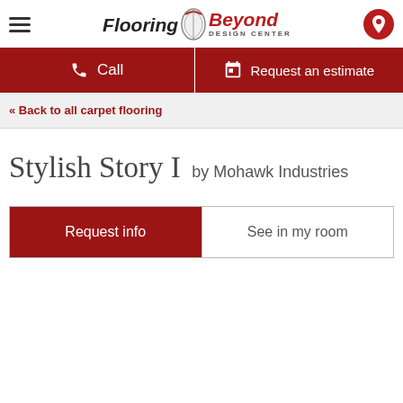Flooring & Beyond Design Center — navigation header with hamburger menu and location icon
Call
Request an estimate
« Back to all carpet flooring
Stylish Story I by Mohawk Industries
Request info
See in my room